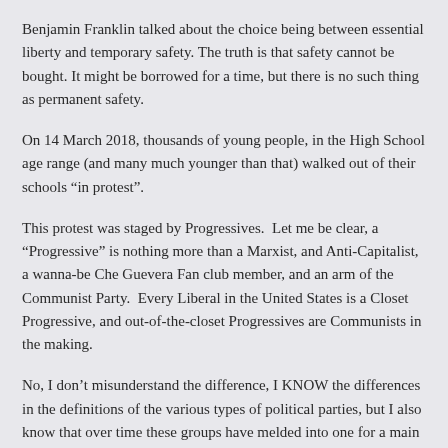Benjamin Franklin talked about the choice being between essential liberty and temporary safety. The truth is that safety cannot be bought. It might be borrowed for a time, but there is no such thing as permanent safety.
On 14 March 2018, thousands of young people, in the High School age range (and many much younger than that) walked out of their schools “in protest”.
This protest was staged by Progressives. Let me be clear, a “Progressive” is nothing more than a Marxist, and Anti-Capitalist, a wanna-be Che Guevera Fan club member, and an arm of the Communist Party. Every Liberal in the United States is a Closet Progressive, and out-of-the-closet Progressives are Communists in the making.
No, I don’t misunderstand the difference, I KNOW the differences in the definitions of the various types of political parties, but I also know that over time these groups have melded into one for a main objective; to utterly destroy the very foundation of the United States of America.
Those children of 14 March were Sock Puppets.  Many thought they were